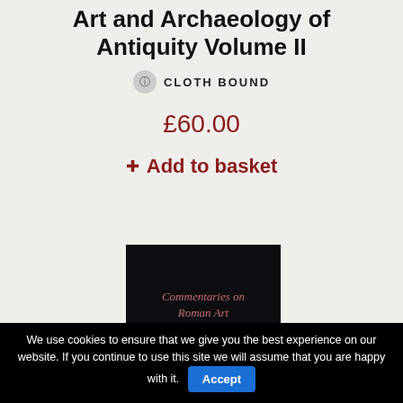Art and Archaeology of Antiquity Volume II
CLOTH BOUND
£60.00
Add to basket
[Figure (photo): Book cover image showing 'Commentaries on Roman Art' by Richard Brilliant on a dark background]
We use cookies to ensure that we give you the best experience on our website. If you continue to use this site we will assume that you are happy with it. Accept